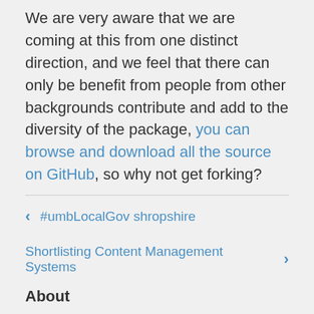We are very aware that we are coming at this from one distinct direction, and we feel that there can only be benefit from people from other backgrounds contribute and add to the diversity of the package, you can browse and download all the source on GitHub, so why not get forking?
< #umbLocalGov shropshire
Shortlisting Content Management Systems >
About